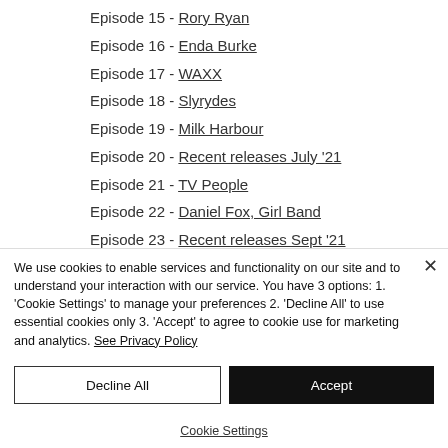Episode 15 - Rory Ryan
Episode 16 - Enda Burke
Episode 17 - WAXX
Episode 18 - Slyrydes
Episode 19 - Milk Harbour
Episode 20 - Recent releases July '21
Episode 21 - TV People
Episode 22 - Daniel Fox, Girl Band
Episode 23 - Recent releases Sept '21
Episode 24 - Punching Peaches
We use cookies to enable services and functionality on our site and to understand your interaction with our service. You have 3 options: 1. 'Cookie Settings' to manage your preferences 2. 'Decline All' to use essential cookies only 3. 'Accept' to agree to cookie use for marketing and analytics. See Privacy Policy
Decline All
Accept
Cookie Settings